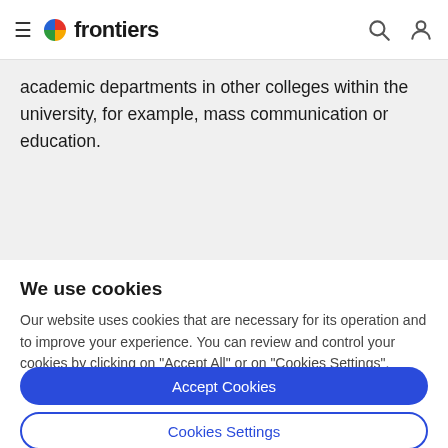frontiers
academic departments in other colleges within the university, for example, mass communication or education.
We use cookies
Our website uses cookies that are necessary for its operation and to improve your experience. You can review and control your cookies by clicking on "Accept All" or on "Cookies Settings".
Accept Cookies
Cookies Settings